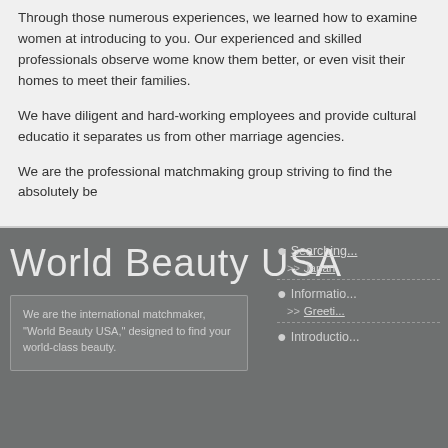Through those numerous experiences, we learned how to examine women at introducing to you. Our experienced and skilled professionals observe women know them better, or even visit their homes to meet their families.
We have diligent and hard-working employees and provide cultural education it separates us from other marriage agencies.
We are the professional matchmaking group striving to find the absolutely be
World Beauty USA
We are the international matchmaker, "World Beauty USA," designed to find your world-class beauty.
Searching...
>> Japan
Information...
>> Greeti...
Introductio...